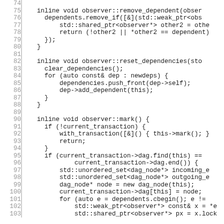[Figure (screenshot): Source code listing (C++) showing lines 74–103 of observer pattern implementation including remove_dependent, reset_dependencies, and mark() methods with line numbers on the left.]